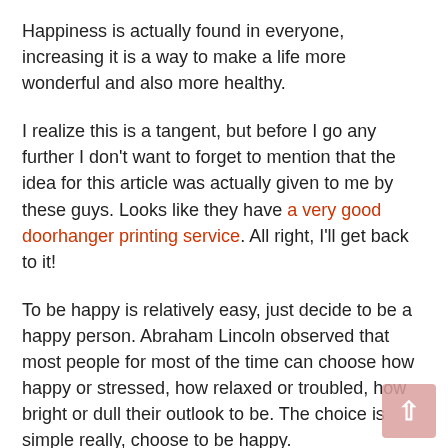Happiness is actually found in everyone, increasing it is a way to make a life more wonderful and also more healthy.
I realize this is a tangent, but before I go any further I don't want to forget to mention that the idea for this article was actually given to me by these guys. Looks like they have a very good doorhanger printing service. All right, I'll get back to it!
To be happy is relatively easy, just decide to be a happy person. Abraham Lincoln observed that most people for most of the time can choose how happy or stressed, how relaxed or troubled, how bright or dull their outlook to be. The choice is simple really, choose to be happy.
There are several ways by which you can do this.
Being grateful is a great attitude. We have so much to be thankful for. Thank the taxi driver for bringing you home safely, thank the cook for a wonderful dinner and thank the guy who cleans your windows. Also thank the mailman for bringing you your mails, thank the policeman for making your place safe and thank God